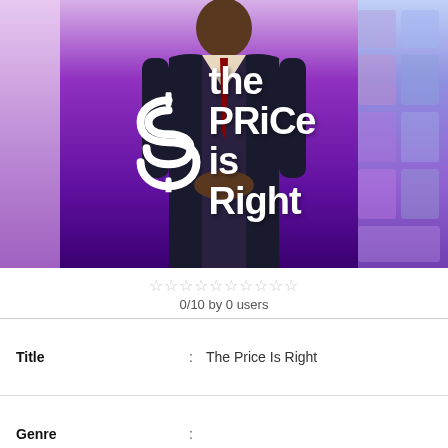[Figure (photo): The Price Is Right TV show promotional image showing a man in a black suit standing in front of a purple-lit stage with 'The Price Is Right' logo overlaid in white text]
0/10 by 0 users
| Title | : | The Price Is Right |
| Genre | : |  |
| Air Date | : | 2021-12-27 |